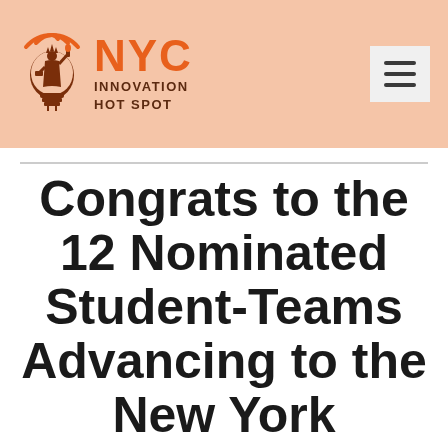[Figure (logo): NYC Innovation Hot Spot logo with Statue of Liberty lightbulb icon and orange NYC text with hamburger menu button]
Congrats to the 12 Nominated Student-Teams Advancing to the New York Statewide Business Pl...